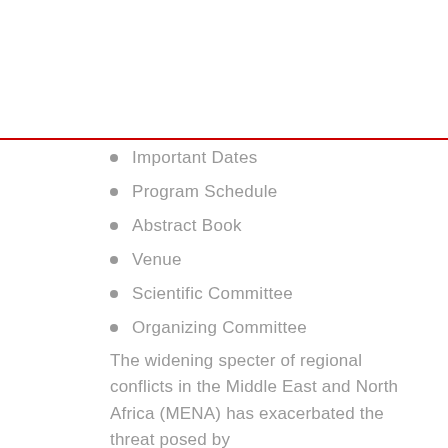Important Dates
Program Schedule
Abstract Book
Venue
Scientific Committee
Organizing Committee
The widening specter of regional conflicts in the Middle East and North Africa (MENA) has exacerbated the threat posed by